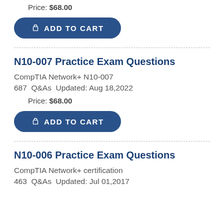Price: $68.00
ADD TO CART
N10-007 Practice Exam Questions
CompTIA Network+ N10-007
687  Q&As  Updated: Aug 18,2022
Price: $68.00
ADD TO CART
N10-006 Practice Exam Questions
CompTIA Network+ certification
463  Q&As  Updated: Jul 01,2017